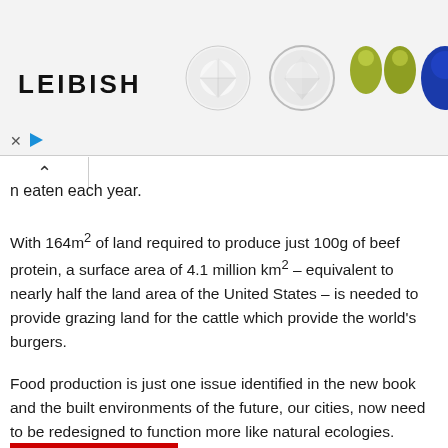[Figure (photo): Advertisement banner for LEIBISH jewelry showing logo, two round diamond gems, two green teardrop gems, and a blue gemstone on white/light gray background. Below the ad are an X close button and a play button triangle icon.]
...n eaten each year.
With 164m² of land required to produce just 100g of beef protein, a surface area of 4.1 million km² – equivalent to nearly half the land area of the United States – is needed to provide grazing land for the cattle which provide the world's burgers.
Food production is just one issue identified in the new book and the built environments of the future, our cities, now need to be redesigned to function more like natural ecologies.